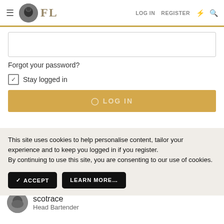FL — LOG IN  REGISTER
[Figure (screenshot): Password input field (empty)]
Forgot your password?
☑ Stay logged in
LOG IN button (gold)
This site uses cookies to help personalise content, tailor your experience and to keep you logged in if you register.
By continuing to use this site, you are consenting to our use of cookies.
✓ ACCEPT   LEARN MORE…
scotrace
Head Bartender